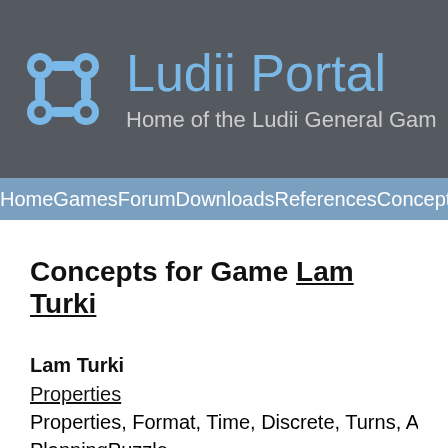Ludii Portal - Home of the Ludii General Game System
Home Games Forum Downloads References Concepts
Concepts for Game Lam Turki
Lam Turki
Properties
Properties, Format, Time, Discrete, Turns, Alternating, PlanningPuzzle
Equipment
Equipment
Meta